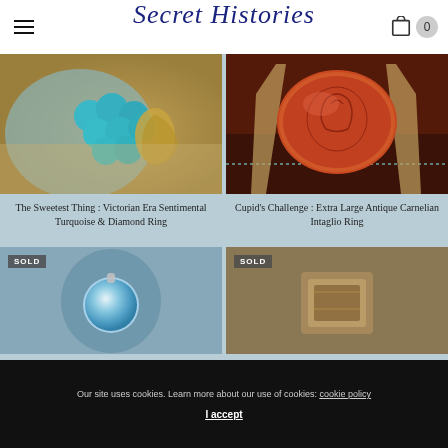Secret Histories
[Figure (photo): Close-up of a Victorian turquoise and diamond ring with gold setting, showing cluster of turquoise beads]
[Figure (photo): Antique carnelian intaglio ring with large oval orange-red stone engraved with Cupid figure, gold setting on dark patterned background]
The Sweetest Thing : Victorian Era Sentimental Turquoise & Diamond Ring
Cupid's Challenge : Extra Large Antique Carnelian Intaglio Ring
[Figure (photo): SOLD - Opal pendant or small jewelry item on blue-grey background]
[Figure (photo): SOLD - Antique ring with ornate setting on muted background]
Our site uses cookies. Learn more about our use of cookies: cookie policy
I accept